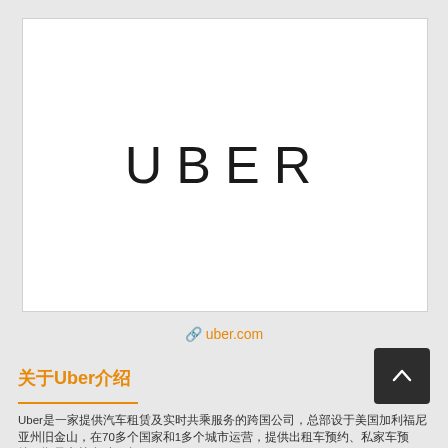[Figure (logo): Uber logo — the word UBER in large light-weight sans-serif letters on a white rectangular background]
🔗 uber.com
关于Uber介绍
Uber是一家提供汽车租赁及实时共乘服务的跨国公司，总部设于美国加利福尼亚州旧金山，在70多个国家和1多个城市运营，提供出租车预约、私家车预约、顺风车等多种服务。